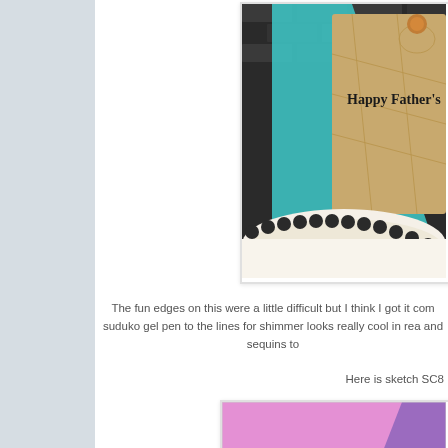[Figure (photo): Partial view of a handmade Father's Day card showing 'Happy Father's' text on a tan/map-patterned background with teal/turquoise paper and decorative lace edge at bottom]
The fun edges on this were a little difficult but I think I got it com... suduko gel pen to the lines for shimmer looks really cool in rea... and sequins to...
Here is sketch SC8...
[Figure (illustration): Craft sketch template showing numbered sections: a pink/mauve background with a diagonal element and a teal/blue circle, labeled with number 1]